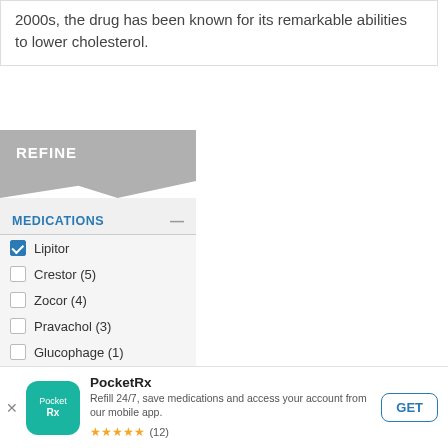2000s, the drug has been known for its remarkable abilities to lower cholesterol.
REFINE
MEDICATIONS
Lipitor (checked)
Crestor (5)
Zocor (4)
Pravachol (3)
Glucophage (1)
Glucophage XR (1)
Januvia (1)
PocketRx
Refill 24/7, save medications and access your account from our mobile app.
★★★★★ (12)